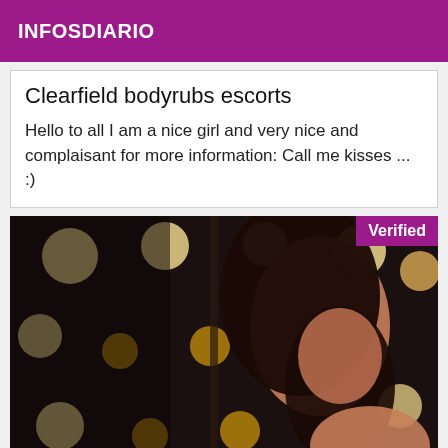INFOSDIARIO
Clearfield bodyrubs escorts
Hello to all I am a nice girl and very nice and complaisant for more information: Call me kisses ... :)
[Figure (photo): Photo of a woman with long dark hair in a dark setting with bokeh lights in the background. A purple 'Verified' badge appears in the top right corner.]